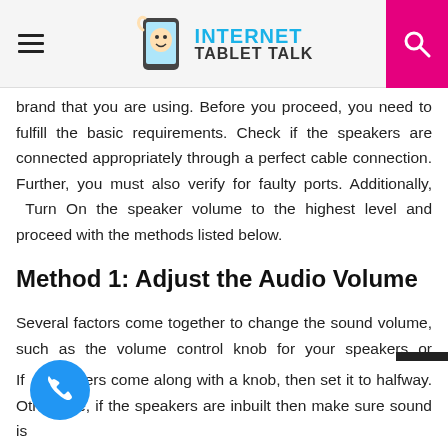Internet Tablet Talk
brand that you are using. Before you proceed, you need to fulfill the basic requirements. Check if the speakers are connected appropriately through a perfect cable connection. Further, you must also verify for faulty ports. Additionally, Turn On the speaker volume to the highest level and proceed with the methods listed below.
Method 1: Adjust the Audio Volume
Several factors come together to change the sound volume, such as the volume control knob for your speakers or monitor, the Windows volume controls or the software associated with the sound software. So, to improve the entire sound experience use the following steps to modify the volumes to correct
If akers come along with a knob, then set it to halfway. Otherwise, if the speakers are inbuilt then make sure sound is